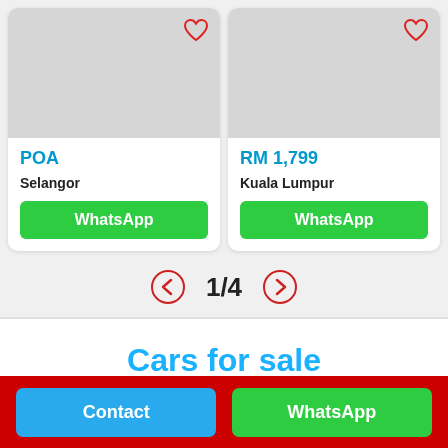[Figure (screenshot): Left product card with gray image placeholder, heart icon, POA price, Selangor location, WhatsApp button]
[Figure (screenshot): Right product card with gray image placeholder, heart icon, RM 1,799 price, Kuala Lumpur location, WhatsApp button]
1/4
Cars for sale
Contact
WhatsApp